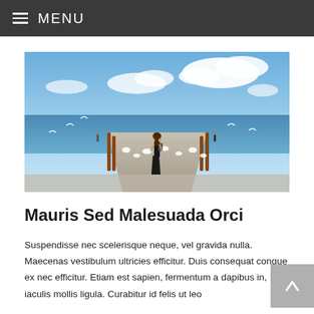MENU
[Figure (photo): A person standing on a pier or boardwalk surrounded by seagulls, looking out at a blue ocean with clouds in the sky.]
Mauris Sed Malesuada Orci
Suspendisse nec scelerisque neque, vel gravida nulla. Maecenas vestibulum ultricies efficitur. Duis consequat congue ex nec efficitur. Etiam est sapien, fermentum a dapibus in, iaculis mollis ligula. Curabitur id felis ut leo